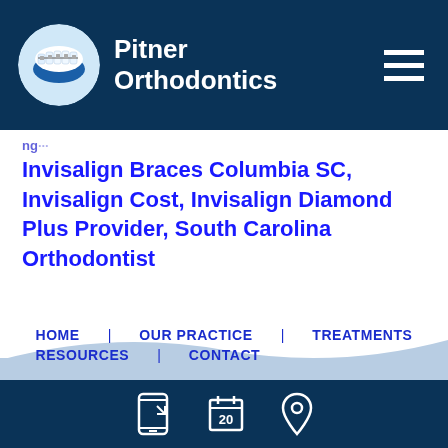Pitner Orthodontics
Invisalign Braces Columbia SC, Invisalign Cost, Invisalign Diamond Plus Provider, South Carolina Orthodontist
HOME OUR PRACTICE TREATMENTS RESOURCES CONTACT
Columbia Office